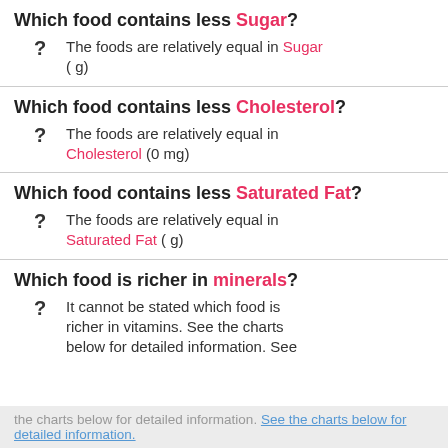Which food contains less Sugar?
? The foods are relatively equal in Sugar ( g)
Which food contains less Cholesterol?
? The foods are relatively equal in Cholesterol (0 mg)
Which food contains less Saturated Fat?
? The foods are relatively equal in Saturated Fat ( g)
Which food is richer in minerals?
? It cannot be stated which food is richer in vitamins. See the charts below for detailed information. See the charts below for detailed information. See the charts below for detailed information.
the charts below for detailed information. See the charts below for detailed information.